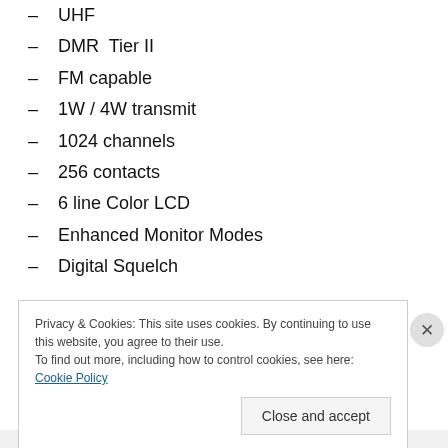– UHF
– DMR  Tier II
– FM capable
– 1W / 4W transmit
– 1024 channels
– 256 contacts
– 6 line Color LCD
– Enhanced Monitor Modes
– Digital Squelch
Certification
Privacy & Cookies: This site uses cookies. By continuing to use this website, you agree to their use.
To find out more, including how to control cookies, see here: Cookie Policy